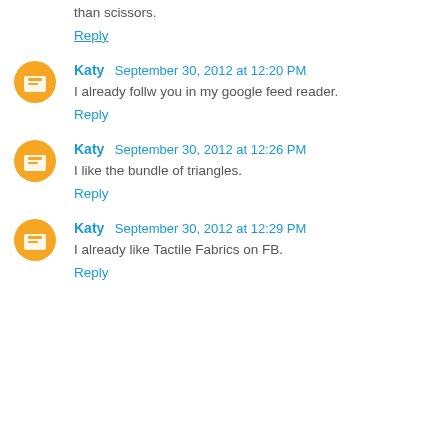than scissors.
Reply
Katy  September 30, 2012 at 12:20 PM
I already follw you in my google feed reader.
Reply
Katy  September 30, 2012 at 12:26 PM
I like the bundle of triangles.
Reply
Katy  September 30, 2012 at 12:29 PM
I already like Tactile Fabrics on FB.
Reply